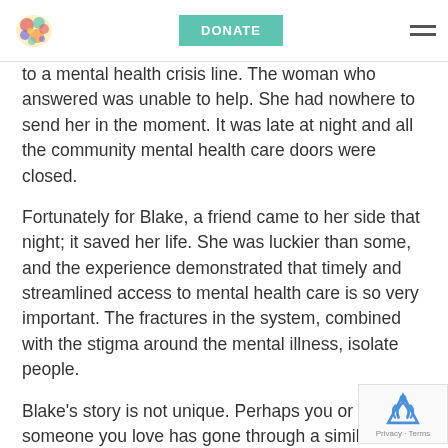DONATE
to a mental health crisis line. The woman who answered was unable to help. She had nowhere to send her in the moment. It was late at night and all the community mental health care doors were closed.
Fortunately for Blake, a friend came to her side that night; it saved her life. She was luckier than some, and the experience demonstrated that timely and streamlined access to mental health care is so very important. The fractures in the system, combined with the stigma around the mental illness, isolate people.
Blake’s story is not unique. Perhaps you or someone you love has gone through a similar experience.
Today, we are excited to announce a new servic… will give all those struggling in Edmonton a plac… when they need help.